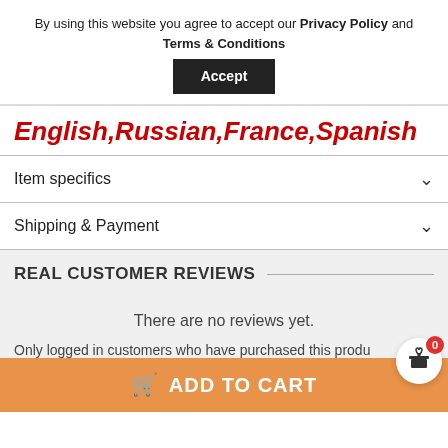By using this website you agree to accept our Privacy Policy and Terms & Conditions
Accept
English,Russian,France,Spanish
Item specifics
Shipping & Payment
REAL CUSTOMER REVIEWS
There are no reviews yet.
Only logged in customers who have purchased this produ
ADD TO CART